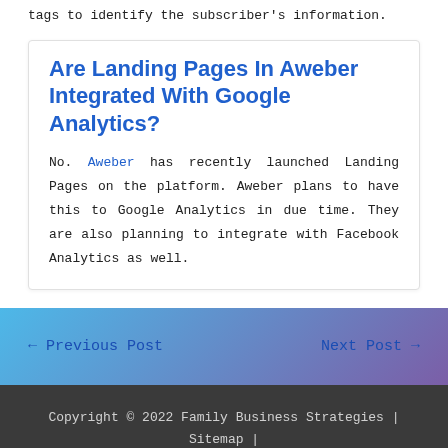tags to identify the subscriber's information.
Are Landing Pages In Aweber Integrated With Google Analytics?
No. Aweber has recently launched Landing Pages on the platform. Aweber plans to have this to Google Analytics in due time. They are also planning to integrate with Facebook Analytics as well.
← Previous Post
Next Post →
Copyright © 2022 Family Business Strategies | Sitemap | Disclaimer: We receive compensation from companies whose products and services we recommend